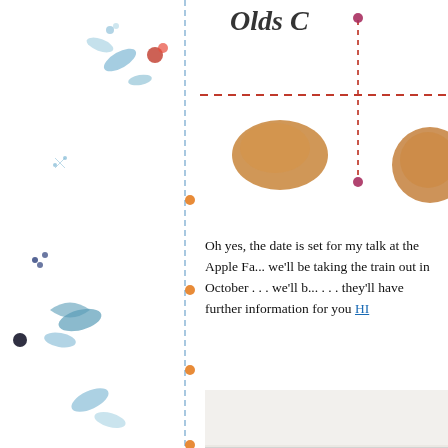[Figure (illustration): Decorative left border with watercolor botanical elements: blue flowers, leaves, red berries/fruits, orange dots, black dots on white background with a vertical dashed blue line]
[Figure (illustration): Top right decorative illustration showing a crosshair/target with dashed red lines and partial circular bread/pastry shapes on white background, with partial handwritten text 'Olds C']
Oh yes, the date is set for my talk at the Apple Fa... we'll be taking the train out in October . . . we'll b... . . . they'll have further information for you HI...
[Figure (photo): Photograph of a speaker (woman in floral dress) addressing a seated audience of mostly women inside a white tent at an outdoor event or fair]